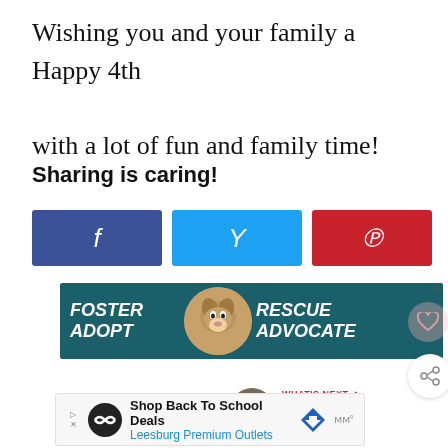Wishing you and your family a Happy 4th with a lot of fun and family time!
Sharing is caring!
[Figure (other): Three social share buttons: Facebook (blue-purple), Twitter (light blue), Pinterest (red)]
[Figure (other): Ad banner: Foster Adopt Rescue Advocate with dog image on teal background]
[Figure (other): What's Next widget showing DIY Stocking Letter Tags thumbnail with text]
[Figure (other): Bottom advertisement: Shop Back To School Deals - Leesburg Premium Outlets]